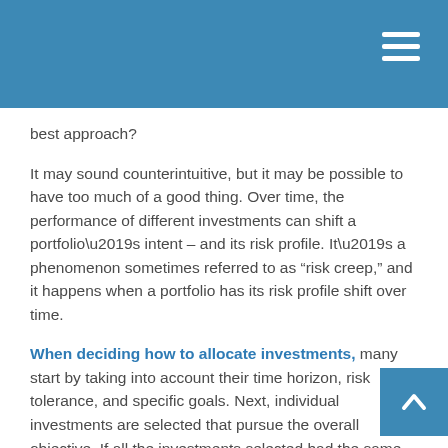best approach?
It may sound counterintuitive, but it may be possible to have too much of a good thing. Over time, the performance of different investments can shift a portfolio’s intent – and its risk profile. It’s a phenomenon sometimes referred to as “risk creep,” and it happens when a portfolio has its risk profile shift over time.
When deciding how to allocate investments, many start by taking into account their time horizon, risk tolerance, and specific goals. Next, individual investments are selected that pursue the overall objective. If all the investments selected had the same return, that balance – that allocation – would remain steady for a period of time. But if the investments have varying returns, over time, the portfolio may bear little resemblance to its original